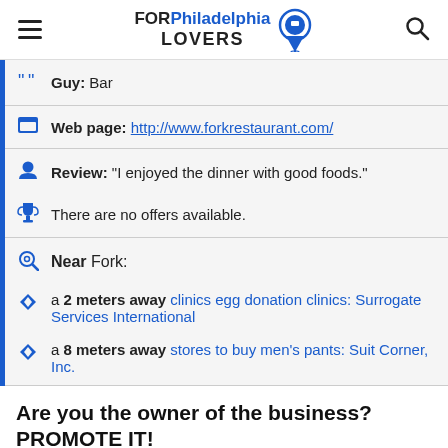FOR Philadelphia LOVERS
Guy: Bar
Web page: http://www.forkrestaurant.com/
Review: "I enjoyed the dinner with good foods."
There are no offers available.
Near Fork:
a 2 meters away clinics egg donation clinics: Surrogate Services International
a 8 meters away stores to buy men's pants: Suit Corner, Inc.
Are you the owner of the business? PROMOTE IT!